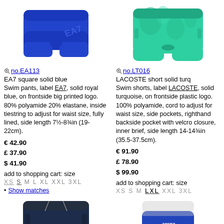[Figure (photo): EA7 square solid blue swim pants - royal blue swimwear product photo]
[Figure (photo): LACOSTE short solid turq swim shorts - turquoise patterned swimwear product photo]
no.EA113
EA7 square solid blue
Swim pants, label EA7, solid royal blue, on frontside big printed logo. 80% polyamide 20% elastane, inside tiestring to adjust for waist size, fully lined, side length 7½-8¾in (19-22cm).
€ 42.90
£ 37.90
$ 41.90
add to shopping cart: size
XS S M L XL XXL 3XL
• Show matches
no.LT016
LACOSTE short solid turq
Swim shorts, label LACOSTE, solid turquoise, on frontside plastic logo. 100% polyamide, cord to adjust for waist size, side pockets, righthand backside pocket with velcro closure, inner brief, side length 14-14¾in (35.5-37.5cm).
€ 91.90
£ 78.90
$ 99.90
add to shopping cart: size
XS S M L XL XXL 3XL
[Figure (photo): Navy blue swim shorts product photo]
[Figure (photo): Arena blue and white swim briefs product photo]